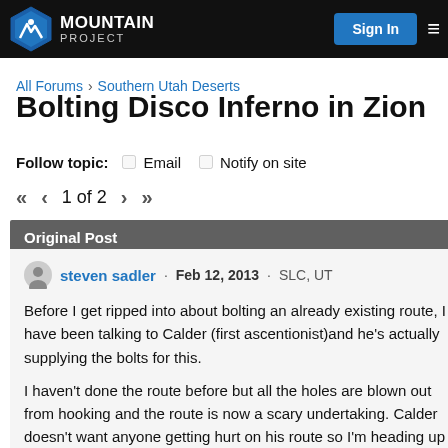Mountain Project — Sign In
All Forums > Southern Utah Deserts
Bolting Disco Inferno in Zion
Follow topic: Email  Notify on site
1 of 2
Original Post
steven sadler · Feb 12, 2013 · SLC, UT
Before I get ripped into about bolting an already existing route, I have been talking to Calder (first ascentionist)and he's actually supplying the bolts for this.

I haven't done the route before but all the holes are blown out from hooking and the route is now a scary undertaking. Calder doesn't want anyone getting hurt on his route so I'm heading up there in the middle of march to drill the holes out and put in 1/2" bolts and hangers. Does anyone who's been up there or knows